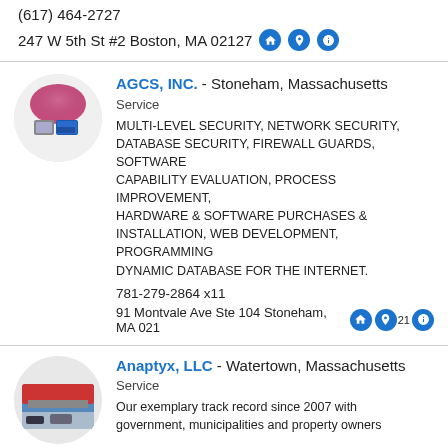(617) 464-2727
247 W 5th St #2 Boston, MA 02127
AGCS, INC. - Stoneham, Massachusetts
Service
MULTI-LEVEL SECURITY, NETWORK SECURITY, DATABASE SECURITY, FIREWALL GUARDS, SOFTWARE CAPABILITY EVALUATION, PROCESS IMPROVEMENT, HARDWARE & SOFTWARE PURCHASES & INSTALLATION, WEB DEVELOPMENT, PROGRAMMING DYNAMIC DATABASE FOR THE INTERNET.
781-279-2864 x11
91 Montvale Ave Ste 104 Stoneham, MA 021
Anaptyx, LLC - Watertown, Massachusetts
Service
Our exemplary track record since 2007 with government, municipalities and property owners